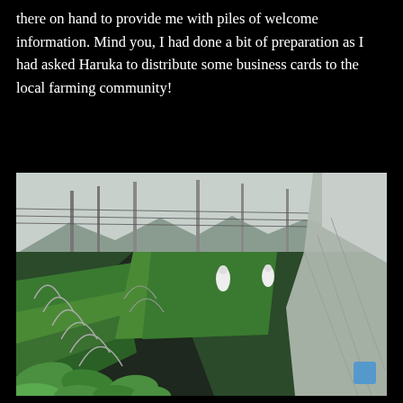there on hand to provide me with piles of welcome information. Mind you, I had done a bit of preparation as I had asked Haruka to distribute some business cards to the local farming community!
[Figure (photo): Outdoor greenhouse farming operation showing long rows of green leafy plants growing in raised beds with curved plastic tunnel hoops, workers in white clothing tending the crops, tall light poles in the background, mountains visible in the distance, and a large plastic tarp/cover on the right side.]